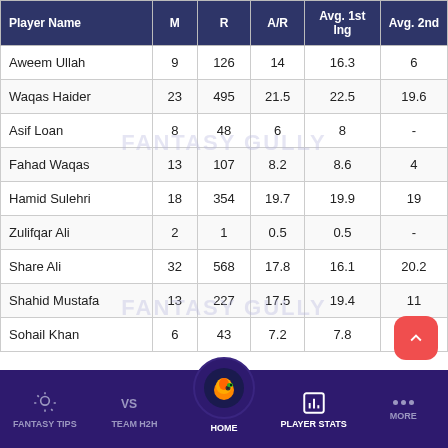| Player Name | M | R | A/R | Avg. 1st Ing | Avg. 2nd |
| --- | --- | --- | --- | --- | --- |
| Aweem Ullah | 9 | 126 | 14 | 16.3 | 6 |
| Waqas Haider | 23 | 495 | 21.5 | 22.5 | 19.6 |
| Asif Loan | 8 | 48 | 6 | 8 | - |
| Fahad Waqas | 13 | 107 | 8.2 | 8.6 | 4 |
| Hamid Sulehri | 18 | 354 | 19.7 | 19.9 | 19 |
| Zulifqar Ali | 2 | 1 | 0.5 | 0.5 | - |
| Share Ali | 32 | 568 | 17.8 | 16.1 | 20.2 |
| Shahid Mustafa | 13 | 227 | 17.5 | 19.4 | 11 |
| Sohail Khan | 6 | 43 | 7.2 | 7.8 | 4 |
FANTASY TIPS  TEAM H2H  HOME  PLAYER STATS  MORE